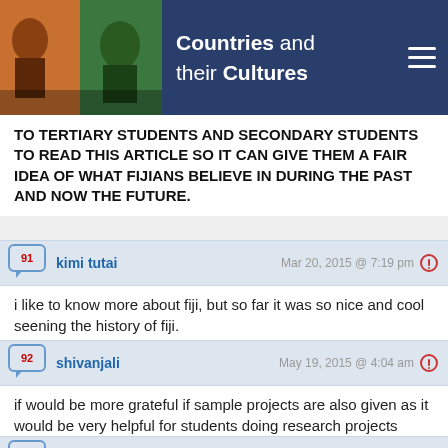Countries and their Cultures
TO TERTIARY STUDENTS AND SECONDARY STUDENTS TO READ THIS ARTICLE SO IT CAN GIVE THEM A FAIR IDEA OF WHAT FIJIANS BELIEVE IN DURING THE PAST AND NOW THE FUTURE.
kimi tutai — Mar 20, 2015 @ 7:19 pm — Comment 91 — i like to know more about fiji, but so far it was so nice and cool seening the history of fiji.
shivanjali — May 19, 2015 @ 4:04 am — Comment 92 — if would be more grateful if sample projects are also given as it would be very helpful for students doing research projects about our nation 'FIJI'.
Moo Moo — Sep 6, 2015 @ 1:01 am — Comment 93 — I loved all the information on it!! it was all very specific and inclusive, though could of done some more on clothing as well.